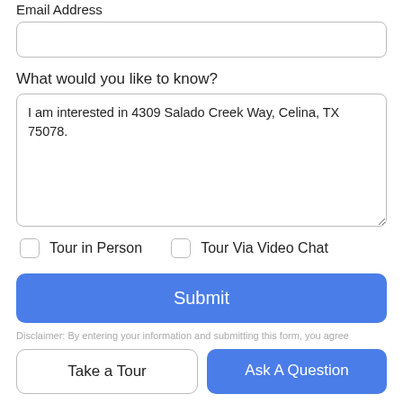Email Address
What would you like to know?
I am interested in 4309 Salado Creek Way, Celina, TX 75078.
Tour in Person
Tour Via Video Chat
Submit
Disclaimer: By entering your information and submitting this form, you agree...
Take a Tour
Ask A Question